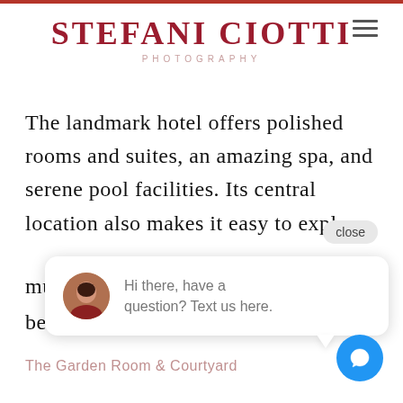STEFANI CIOTTI PHOTOGRAPHY
The landmark hotel offers polished rooms and suites, an amazing spa, and serene pool facilities. Its central location also makes it easy to explore museums, before or...
[Figure (screenshot): Chat popup widget with close button and avatar, message: Hi there, have a question? Text us here.]
The Garden Room & Courtyard